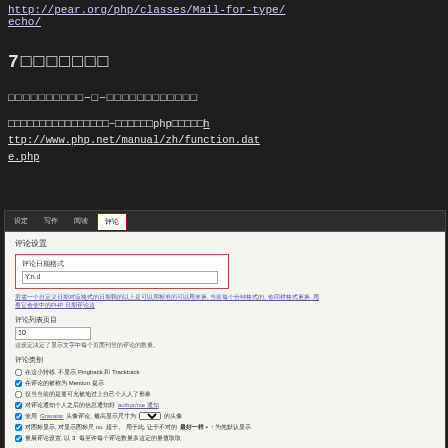http://pear.org/php/classes/Mail-for-type/echo/
7章 コメント設定
コメント日時形式の設定について－ゆ－コメントの日時形式を設定する
コメント日時形式を設定するためには設定方法は－コメント形式はphpのdate関数を参照 http://www.php.net/manual/zh/function.date.php
[Figure (screenshot): WordPress comment settings page screenshot showing 評論設置 section with 評論日期格式 field set to Y.n.d, with explanatory text, 評論列表頁目 field set to 10, and 評論類別 checkboxes section with multiple options.]